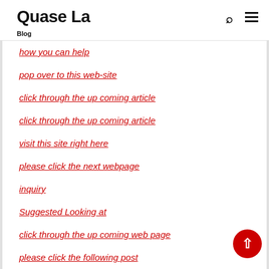Quase La
Blog
how you can help
pop over to this web-site
click through the up coming article
click through the up coming article
visit this site right here
please click the next webpage
inquiry
Suggested Looking at
click through the up coming web page
please click the following post